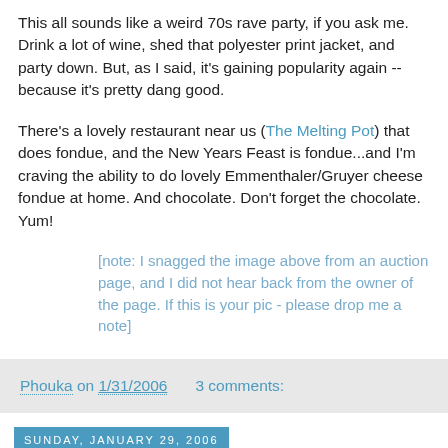This all sounds like a weird 70s rave party, if you ask me. Drink a lot of wine, shed that polyester print jacket, and party down. But, as I said, it's gaining popularity again -- because it's pretty dang good.
There's a lovely restaurant near us (The Melting Pot) that does fondue, and the New Years Feast is fondue...and I'm craving the ability to do lovely Emmenthaler/Gruyer cheese fondue at home. And chocolate. Don't forget the chocolate. Yum!
[note: I snagged the image above from an auction page, and I did not hear back from the owner of the page. If this is your pic - please drop me a note]
Phouka on 1/31/2006     3 comments:
Sunday, January 29, 2006
Robots are Strong